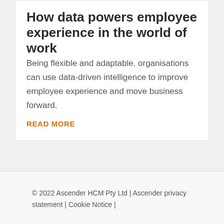How data powers employee experience in the world of work
Being flexible and adaptable, organisations can use data-driven intelligence to improve employee experience and move business forward.
READ MORE
© 2022 Ascender HCM Pty Ltd | Ascender privacy statement | Cookie Notice |